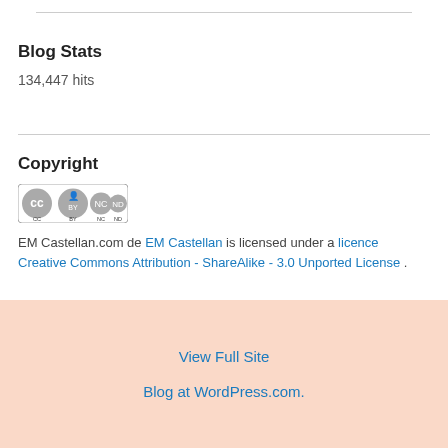Blog Stats
134,447 hits
Copyright
[Figure (logo): Creative Commons BY NC ND license badge]
EM Castellan.com de EM Castellan is licensed under a licence Creative Commons Attribution - ShareAlike - 3.0 Unported License .
View Full Site
Blog at WordPress.com.